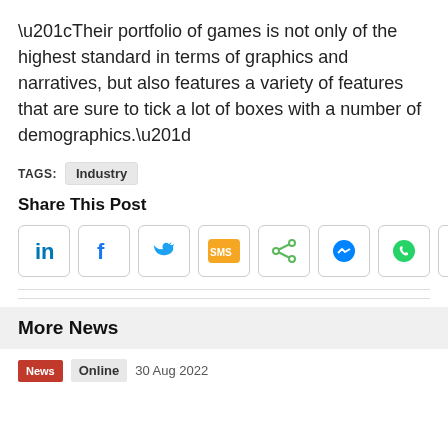“Their portfolio of games is not only of the highest standard in terms of graphics and narratives, but also features a variety of features that are sure to tick a lot of boxes with a number of demographics.”
TAGS: Industry
Share This Post
[Figure (infographic): Row of 8 social share icon buttons: LinkedIn, Facebook, Twitter, SMS, Share, Messenger, WhatsApp, Email]
More News
News  Online  30 Aug 2022